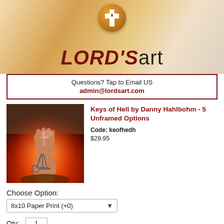[Figure (logo): Lord's Art logo banner with golden cross and heart icon, dark red LORD'S text and black art text on warm gradient background]
Questions? Tap to Email US
admin@lordsart.com
[Figure (photo): Keys of Hell artwork by Danny Hahlbohm showing a fist raised holding keys against a fiery background]
Keys of Hell by Danny Hahlbohm - 5 Unframed Options
Code: keofhedh
$29.95
Choose Option:
8x10 Paper Print (+0)
Qty: 1